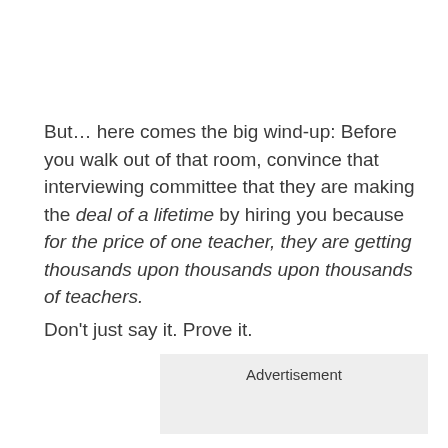But… here comes the big wind-up: Before you walk out of that room, convince that interviewing committee that they are making the deal of a lifetime by hiring you because for the price of one teacher, they are getting thousands upon thousands upon thousands of teachers.
Don't just say it. Prove it.
[Figure (other): Advertisement placeholder box]